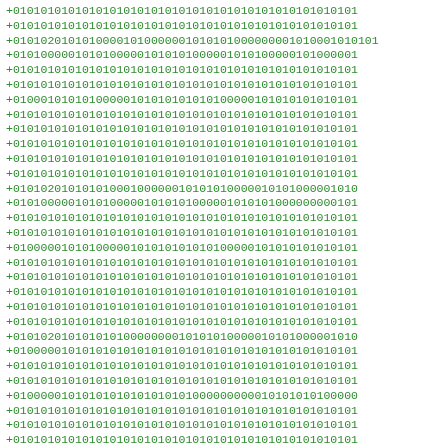Binary/data sequence display showing rows of +0 and 1 patterns in green monospace font